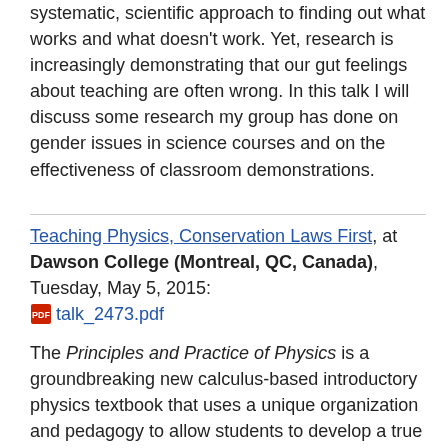systematic, scientific approach to finding out what works and what doesn't work. Yet, research is increasingly demonstrating that our gut feelings about teaching are often wrong. In this talk I will discuss some research my group has done on gender issues in science courses and on the effectiveness of classroom demonstrations.
Teaching Physics, Conservation Laws First, at Dawson College (Montreal, QC, Canada), Tuesday, May 5, 2015: talk_2473.pdf
The Principles and Practice of Physics is a groundbreaking new calculus-based introductory physics textbook that uses a unique organization and pedagogy to allow students to develop a true conceptual understanding of physics alongside the quantitative skills needed in the course. The book organizes introductory physics around the conservation principles and provides